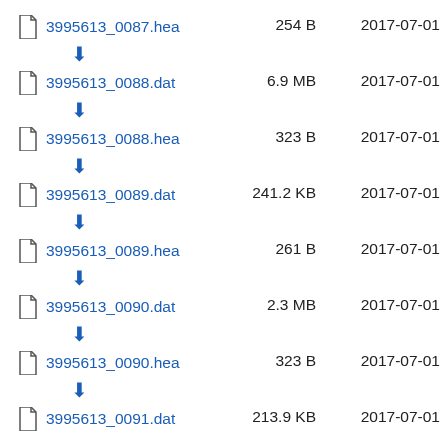3995613_0087.hea  254 B  2017-07-01
3995613_0088.dat  6.9 MB  2017-07-01
3995613_0088.hea  323 B  2017-07-01
3995613_0089.dat  241.2 KB  2017-07-01
3995613_0089.hea  261 B  2017-07-01
3995613_0090.dat  2.3 MB  2017-07-01
3995613_0090.hea  323 B  2017-07-01
3995613_0091.dat  213.9 KB  2017-07-01